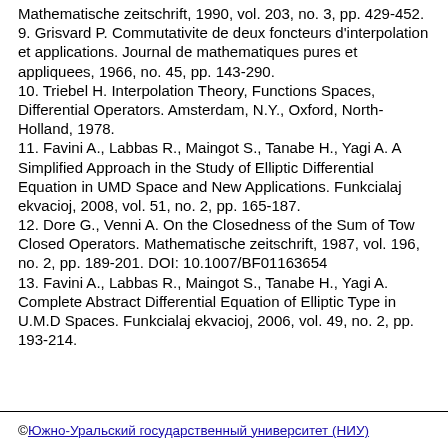Mathematische zeitschrift, 1990, vol. 203, no. 3, pp. 429-452.
9. Grisvard P. Commutativite de deux foncteurs d'interpolation et applications. Journal de mathematiques pures et appliquees, 1966, no. 45, pp. 143-290.
10. Triebel H. Interpolation Theory, Functions Spaces, Differential Operators. Amsterdam, N.Y., Oxford, North-Holland, 1978.
11. Favini A., Labbas R., Maingot S., Tanabe H., Yagi A. A Simplified Approach in the Study of Elliptic Differential Equation in UMD Space and New Applications. Funkcialaj ekvacioj, 2008, vol. 51, no. 2, pp. 165-187.
12. Dore G., Venni A. On the Closedness of the Sum of Tow Closed Operators. Mathematische zeitschrift, 1987, vol. 196, no. 2, pp. 189-201. DOI: 10.1007/BF01163654
13. Favini A., Labbas R., Maingot S., Tanabe H., Yagi A. Complete Abstract Differential Equation of Elliptic Type in U.M.D Spaces. Funkcialaj ekvacioj, 2006, vol. 49, no. 2, pp. 193-214.
© Южно-Уральский государственный университет (НИУ)